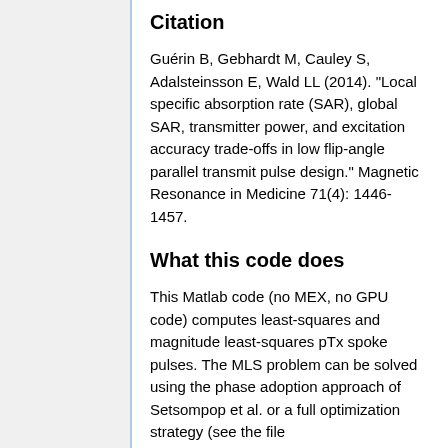Citation
Guérin B, Gebhardt M, Cauley S, Adalsteinsson E, Wald LL (2014). "Local specific absorption rate (SAR), global SAR, transmitter power, and excitation accuracy trade-offs in low flip-angle parallel transmit pulse design." Magnetic Resonance in Medicine 71(4): 1446-1457.
What this code does
This Matlab code (no MEX, no GPU code) computes least-squares and magnitude least-squares pTx spoke pulses. The MLS problem can be solved using the phase adoption approach of Setsompop et al. or a full optimization strategy (see the file spokes_3/run_spokes.m and options